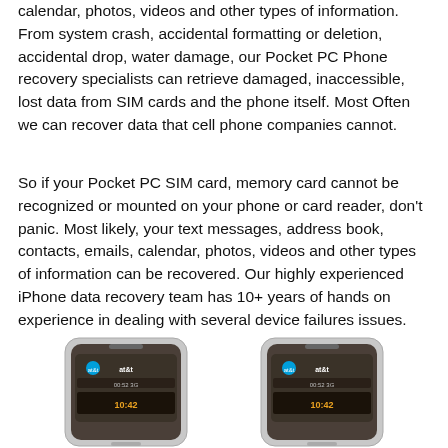calendar, photos, videos and other types of information. From system crash, accidental formatting or deletion, accidental drop, water damage, our Pocket PC Phone recovery specialists can retrieve damaged, inaccessible, lost data from SIM cards and the phone itself. Most Often we can recover data that cell phone companies cannot.
So if your Pocket PC SIM card, memory card cannot be recognized or mounted on your phone or card reader, don't panic. Most likely, your text messages, address book, contacts, emails, calendar, photos, videos and other types of information can be recovered. Our highly experienced iPhone data recovery team has 10+ years of hands on experience in dealing with several device failures issues.
If we can't recover your data, there's no charge, period!
[Figure (photo): Two AT&T smartphones side by side, shown from the front, displaying the AT&T logo and time on their screens.]